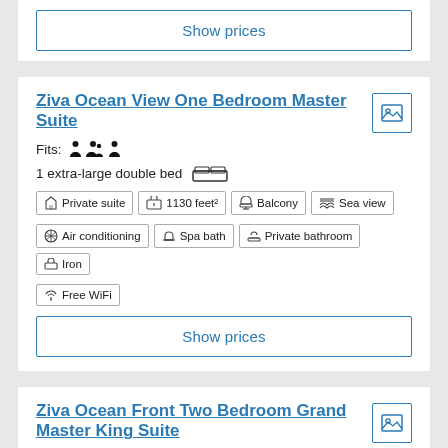Show prices
Ziva Ocean View One Bedroom Master Suite
Fits: 3 persons
1 extra-large double bed
Private suite
1130 feet²
Balcony
Sea view
Air conditioning
Spa bath
Private bathroom
Iron
Free WiFi
Show prices
Ziva Ocean Front Two Bedroom Grand Master King Suite
Fits: x 6